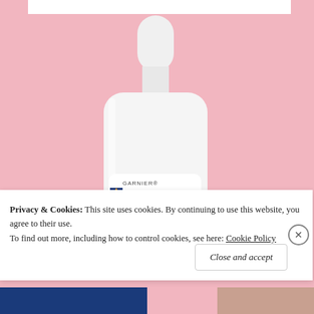[Figure (photo): Garnier Ombrelle SPF 60 Ultra Light Advanced Tinted sunscreen product bottle on pink background, with a white product label showing the brand name GARNIER, OMBRELLE logo, SPF 60 in large numerals, Ultra Light Advanced badge, and a tan/beige Tinted/Lotion Teintée badge]
Privacy & Cookies: This site uses cookies. By continuing to use this website, you agree to their use.
To find out more, including how to control cookies, see here: Cookie Policy
Close and accept